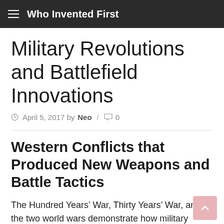Who Invented First
Military Revolutions and Battlefield Innovations
© April 5, 2017 by Neo / 0
Western Conflicts that Produced New Weapons and Battle Tactics
The Hundred Years' War, Thirty Years' War, and the two world wars demonstrate how military revolutions result in better weaponry, often ensuring final victory.